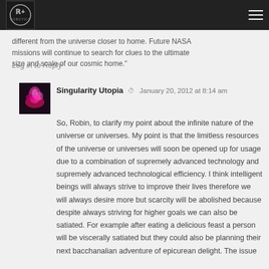[Logo] [Hamburger menu]
different from the universe closer to home. Future NASA missions will continue to search for clues to the ultimate size and scale of our cosmic home."
Log in to Reply
Singularity Utopia  January 20, 2012 at 8:14 am
So, Robin, to clarify my point about the infinite nature of the universe or universes. My point is that the limitless resources of the universe or universes will soon be opened up for usage due to a combination of supremely advanced technology and supremely advanced technological efficiency. I think intelligent beings will always strive to improve their lives therefore we will always desire more but scarcity will be abolished because despite always striving for higher goals we can also be satiated. For example after eating a delicious feast a person will be viscerally satiated but they could also be planning their next bacchanalian adventure of epicurean delight. The issue